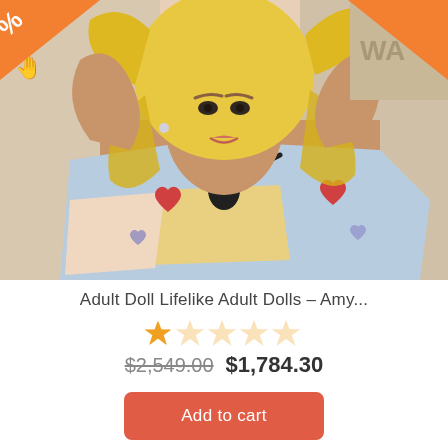[Figure (photo): Product photo of a lifelike adult doll with long blonde hair, wearing a light blue t-shirt with heart designs and a black necklace, lying on a white fur surface. Orange sale badges visible in top corners.]
Adult Doll Lifelike Adult Dolls – Amy...
★★★★★ (star rating, 0 out of 5)
$2,549.00  $1,784.30
Add to cart